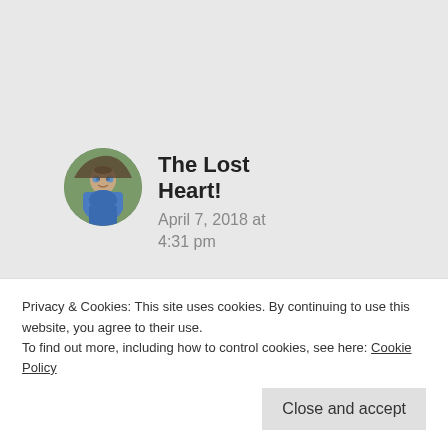[Figure (photo): Circular avatar photo of a man in a blue sleeveless shirt outdoors]
The Lost Heart!
April 7, 2018 at 4:31 pm
Hey thanks a lot. This would be very helpful.
Privacy & Cookies: This site uses cookies. By continuing to use this website, you agree to their use.
To find out more, including how to control cookies, see here: Cookie Policy